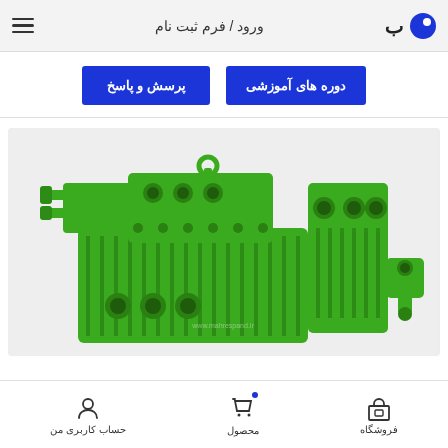ورود / فرم ثبت نام
دوره های آموزشی
پرسش و پاسخ
[Figure (photo): Green industrial refrigeration compressor unit on gray background, with watermark www.mahrespand.ir]
فروشگاه | محصول | حساب کاربری من